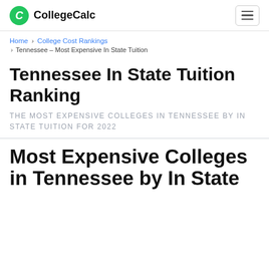CollegeCalc
Home > College Cost Rankings > Tennessee – Most Expensive In State Tuition
Tennessee In State Tuition Ranking
THE MOST EXPENSIVE COLLEGES IN TENNESSEE BY IN STATE TUITION FOR 2022
Most Expensive Colleges in Tennessee by In State